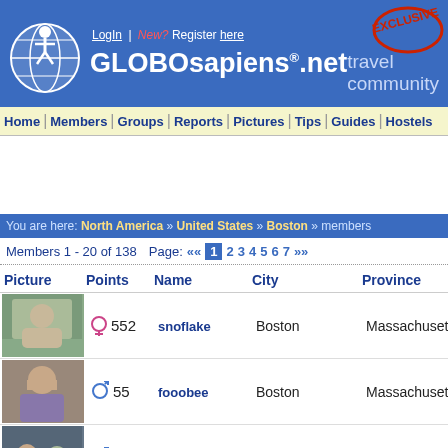GLOBOsapiens.net travel community
LogIn | New? Register here
Home | Members | Groups | Reports | Pictures | Tips | Guides | Hostels
You are here: North America » United States » Boston » members
Members 1 - 20 of 138  Page: «« 1 2 3 4 5 6 7 »»
| Picture | Points | Name | City | Province |
| --- | --- | --- | --- | --- |
| [photo] | ♀ 552 | snoflake | Boston | Massachusetts |
| [photo] | ♂ 55 | fooobee | Boston | Massachusetts |
| [photo] | ♂ 54 | kaptpowers | Boston | Massachusetts |
| [photo] | ♀ 54 | musiquedame | Boston | Massachusetts |